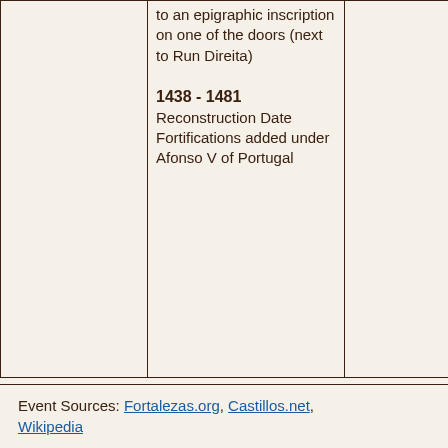|  | to an epigraphic inscription on one of the doors (next to Run Direita)

1438 - 1481
Reconstruction Date
Fortifications added under Afonso V of Portugal |  |  |
Event Sources: Fortalezas.org, Castillos.net, Wikipedia